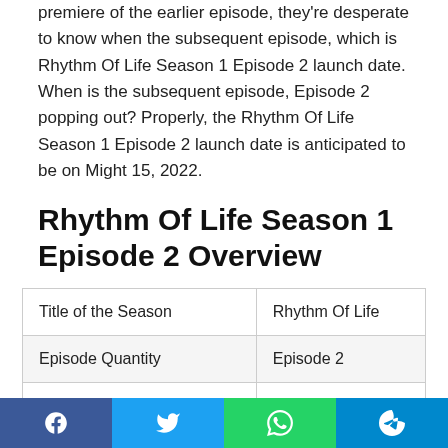premiere of the earlier episode, they're desperate to know when the subsequent episode, which is Rhythm Of Life Season 1 Episode 2 launch date. When is the subsequent episode, Episode 2 popping out? Properly, the Rhythm Of Life Season 1 Episode 2 launch date is anticipated to be on Might 15, 2022.
Rhythm Of Life Season 1 Episode 2 Overview
| Title of the Season | Rhythm Of Life |
| Episode Quantity | Episode 2 |
| Style | Music |